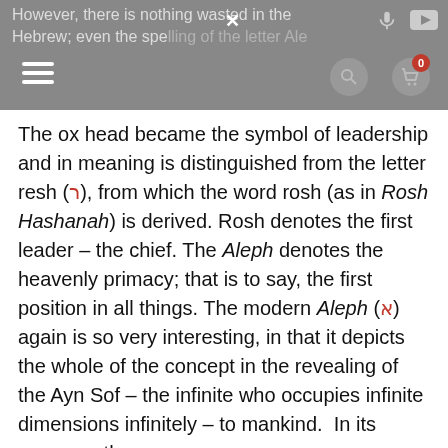However, there is nothing wasted in the Hebrew; even the spelling of the letter Alef...
The ox head became the symbol of leadership and in meaning is distinguished from the letter resh (ר), from which the word rosh (as in Rosh Hashanah) is derived. Rosh denotes the first leader – the chief. The Aleph denotes the heavenly primacy; that is to say, the first position in all things. The modern Aleph (א) again is so very interesting, in that it depicts the whole of the concept in the revealing of the Ayn Sof – the infinite who occupies infinite dimensions infinitely – to mankind.  In its essence, the modern Aleph (א) denotes...